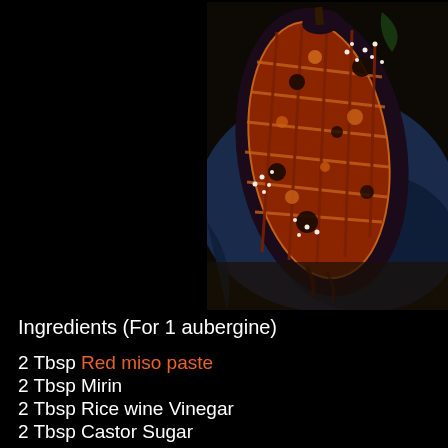[Figure (photo): A roasted aubergine (eggplant) halved lengthwise, scored in a crosshatch grid pattern, glazed with a dark miso sauce, and sprinkled with white sesame seeds, served on a dark blue ceramic dish.]
Ingredients (For 1 aubergine)
2 Tbsp Red miso paste
2 Tbsp Mirin
2 Tbsp Rice wine Vinegar
2 Tbsp Castor Sugar